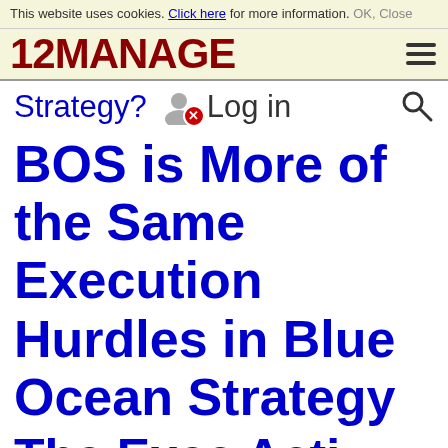This website uses cookies. Click here for more information. OK Close
12MANAGE
Strategy? Log in
BOS is More of the Same Execution Hurdles in Blue Ocean Strategy
The Exec Acti...